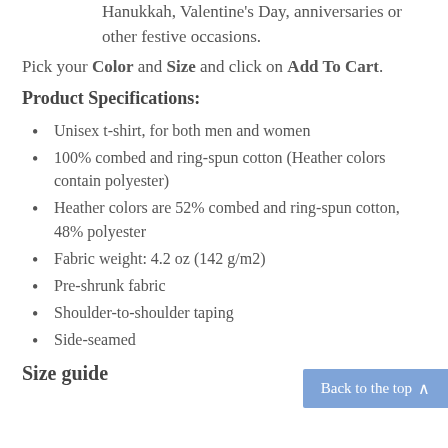Hanukkah, Valentine's Day, anniversaries or other festive occasions.
Pick your Color and Size and click on Add To Cart.
Product Specifications:
Unisex t-shirt, for both men and women
100% combed and ring-spun cotton (Heather colors contain polyester)
Heather colors are 52% combed and ring-spun cotton, 48% polyester
Fabric weight: 4.2 oz (142 g/m2)
Pre-shrunk fabric
Shoulder-to-shoulder taping
Side-seamed
Size guide